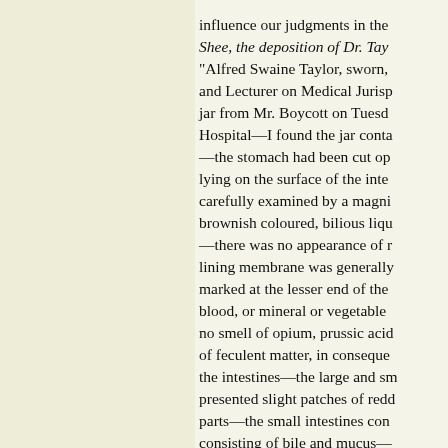influence our judgments in the Shee, the deposition of Dr. Tay "Alfred Swaine Taylor, sworn, and Lecturer on Medical Jurisp jar from Mr. Boycott on Tuesd Hospital—I found the jar conta —the stomach had been cut op lying on the surface of the inte carefully examined by a magni brownish coloured, bilious liqu —there was no appearance of r lining membrane was generally marked at the lesser end of the blood, or mineral or vegetable no smell of opium, prussic acid of feculent matter, in conseque the intestines—the large and sm presented slight patches of redd parts—the small intestines con consisting of bile and mucus— open, were removed, and allow hours, the sediment was exami